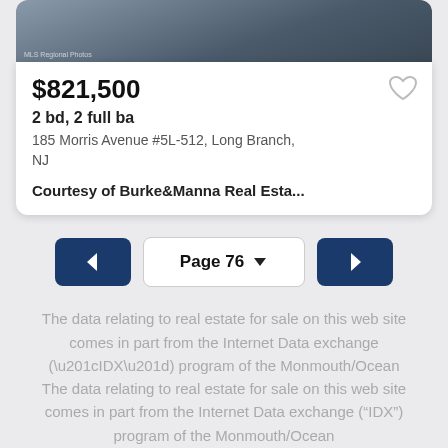[Figure (photo): Real estate listing photo of a coastal/waterfront property, partially cropped at top]
$821,500
2 bd, 2 full ba
185 Morris Avenue #5L-512, Long Branch, NJ
Courtesy of Burke&Manna Real Esta...
Page 76
The data relating to real estate for sale on this web site comes in part from the Internet Data exchange (“IDX”) program of the Monmouth/Ocean